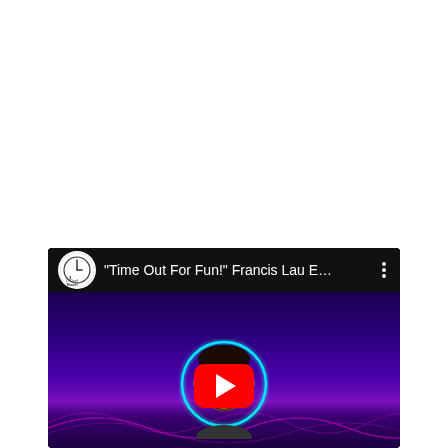[Figure (screenshot): YouTube video thumbnail/player showing '"Time Out For Fun!" Francis Lau E...' with a 3 O'Clock Rock channel logo (white circle with clock and text), a person's face with glowing cyan circle outline and orange sunglasses against a dark purple/violet background with wave lines, and a YouTube play button in the center.]